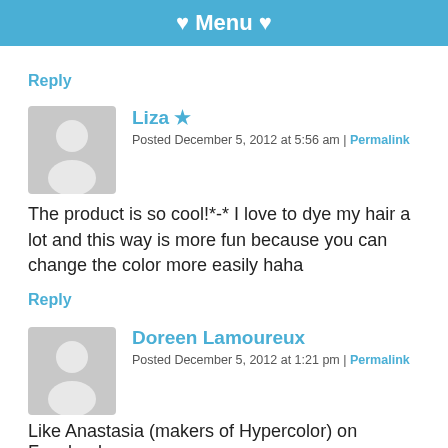♥ Menu ♥
Reply
Liza ★
Posted December 5, 2012 at 5:56 am | Permalink
The product is so cool!*-* I love to dye my hair a lot and this way is more fun because you can change the color more easily haha
Reply
Doreen Lamoureux
Posted December 5, 2012 at 1:21 pm | Permalink
Like Anastasia (makers of Hypercolor) on Facebook
[Figure (other): Social media icons: Facebook, Twitter, Pinterest, LinkedIn]